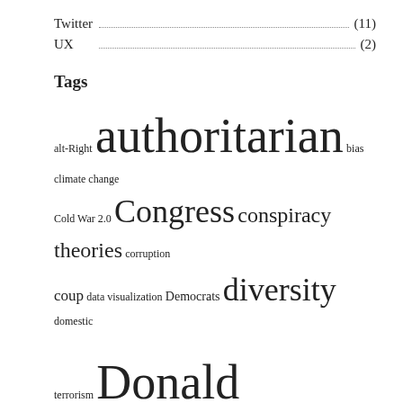Twitter (11)
UX (2)
Tags
alt-Right authoritarian bias climate change Cold War 2.0 Congress conspiracy theories corruption coup data visualization Democrats diversity domestic terrorism Donald Trump emotional abuse equality fear GOP human rights inequality James Madison Joe Biden justice Libertarian MAGA magical thinking oligarchy organized crime paranoia political philosophy political violence public goods racism Republicans Right-wing rule of law